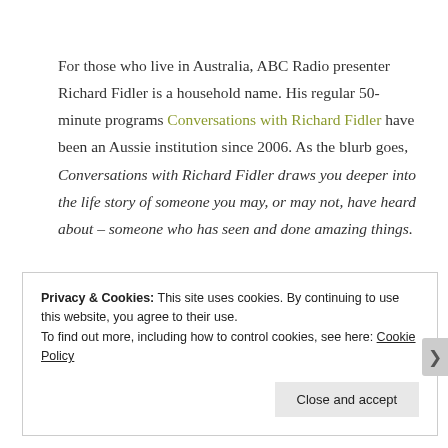For those who live in Australia, ABC Radio presenter Richard Fidler is a household name. His regular 50-minute programs Conversations with Richard Fidler have been an Aussie institution since 2006. As the blurb goes, Conversations with Richard Fidler draws you deeper into the life story of someone you may, or may not, have heard about – someone who has seen and done amazing things.
Privacy & Cookies: This site uses cookies. By continuing to use this website, you agree to their use.
To find out more, including how to control cookies, see here: Cookie Policy